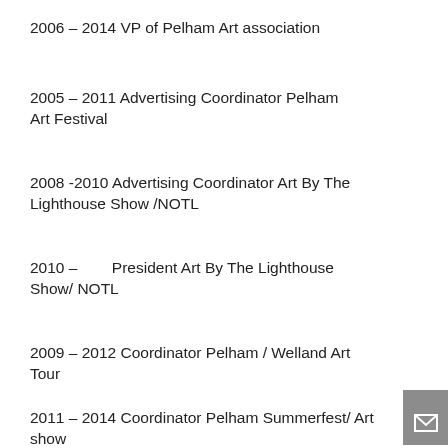2006 – 2014 VP of Pelham Art association
2005 – 2011 Advertising Coordinator Pelham Art Festival
2008 -2010 Advertising Coordinator Art By The Lighthouse Show /NOTL
2010 –        President Art By The Lighthouse Show/ NOTL
2009 – 2012 Coordinator Pelham / Welland Art Tour
2011 – 2014 Coordinator Pelham Summerfest/ Art show